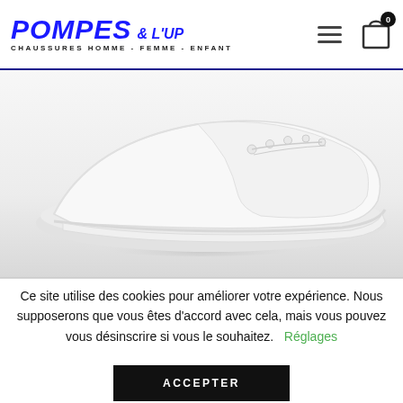POMPES & L'UP — CHAUSSURES HOMME - FEMME - ENFANT
[Figure (photo): Close-up photo of a white sneaker/trainer shoe on a light grey/white background, showing the front toe and sole area from above.]
Ce site utilise des cookies pour améliorer votre expérience. Nous supposerons que vous êtes d'accord avec cela, mais vous pouvez vous désinscrire si vous le souhaitez.   Réglages
ACCEPTER